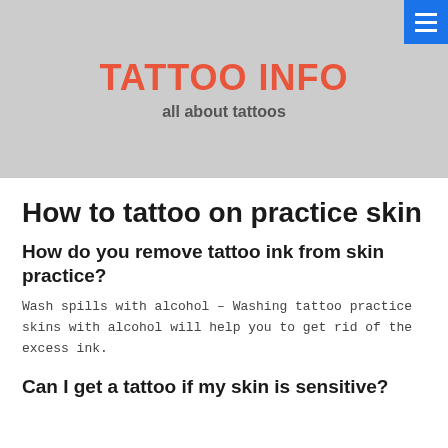TATTOO INFO
all about tattoos
How to tattoo on practice skin
How do you remove tattoo ink from skin practice?
Wash spills with alcohol – Washing tattoo practice skins with alcohol will help you to get rid of the excess ink.
Can I get a tattoo if my skin is sensitive?